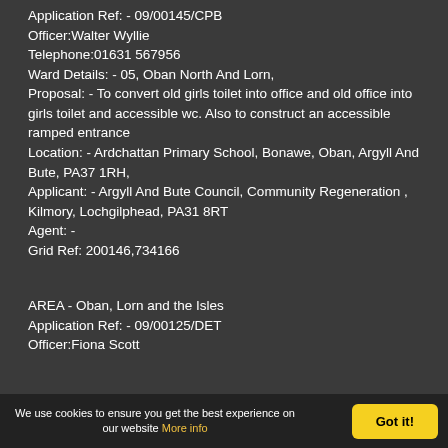Application Ref: - 09/00145/CPB
Officer:Walter Wyllie
Telephone:01631 567956
Ward Details: - 05, Oban North And Lorn,
Proposal: - To convert old girls toilet into office and old office into girls toilet and accessible wc. Also to construct an accessible ramped entrance
Location: - Ardchattan Primary School, Bonawe, Oban, Argyll And Bute, PA37 1RH,
Applicant: - Argyll And Bute Council, Community Regeneration , Kilmory, Lochgilphead, PA31 8RT
Agent: -
Grid Ref: 200146,734166
AREA - Oban, Lorn and the Isles
Application Ref: - 09/00125/DET
Officer:Fiona Scott
We use cookies to ensure you get the best experience on our website More info